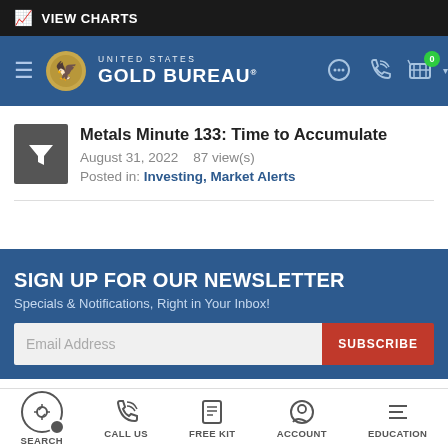VIEW CHARTS
[Figure (logo): United States Gold Bureau logo with eagle emblem and navigation icons]
Metals Minute 133: Time to Accumulate
August 31, 2022   87 view(s)
Posted in: Investing, Market Alerts
SIGN UP FOR OUR NEWSLETTER
Specials & Notifications, Right in Your Inbox!
Email Address
SUBSCRIBE
SEARCH   CALL US   FREE KIT   ACCOUNT   EDUCATION